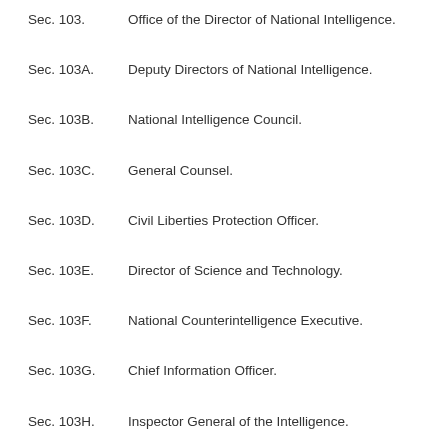Sec. 103.    Office of the Director of National Intelligence.
Sec. 103A.   Deputy Directors of National Intelligence.
Sec. 103B.   National Intelligence Council.
Sec. 103C.   General Counsel.
Sec. 103D.   Civil Liberties Protection Officer.
Sec. 103E.   Director of Science and Technology.
Sec. 103F.   National Counterintelligence Executive.
Sec. 103G.   Chief Information Officer.
Sec. 103H.   Inspector General of the Intelligence.